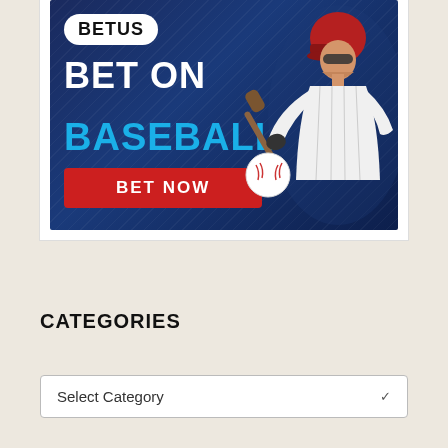[Figure (illustration): BetUS advertisement banner for baseball betting. Dark blue background with diagonal lines, 'BETUS' logo in white pill/oval shape, large white text 'BET ON' and blue text 'BASEBALL', a red 'BET NOW' button, and a baseball player batter in red helmet on the right side with a baseball.]
CATEGORIES
Select Category